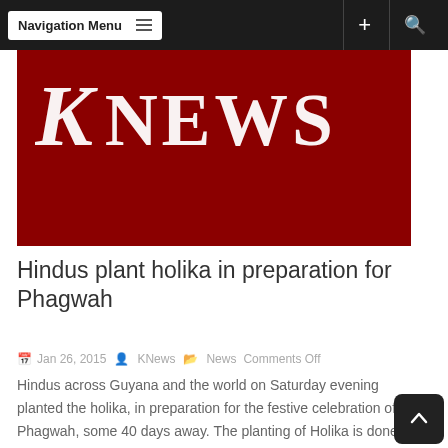Navigation Menu
[Figure (logo): KNews red banner logo with white text showing 'K NEWS' letters on dark red background]
Hindus plant holika in preparation for Phagwah
Jan 26, 2015  KNews  News Comments Off
Hindus across Guyana and the world on Saturday evening planted the holika, in preparation for the festive celebration of Phagwah, some 40 days away. The planting of Holika is done roughly about 40...
[Figure (other): Read More red button]
[Figure (other): Partial red banner at bottom of page]